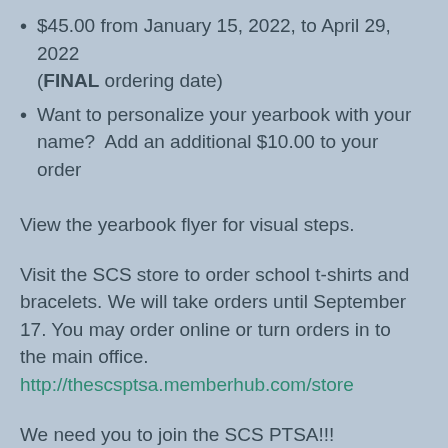$45.00 from January 15, 2022, to April 29, 2022 (FINAL ordering date)
Want to personalize your yearbook with your name?  Add an additional $10.00 to your order
View the yearbook flyer for visual steps.
Visit the SCS store to order school t-shirts and bracelets. We will take orders until September 17. You may order online or turn orders in to the main office. http://thescsptsa.memberhub.com/store
We need you to join the SCS PTSA!!!